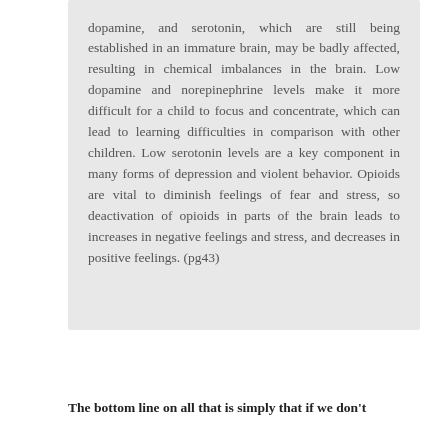dopamine, and serotonin, which are still being established in an immature brain, may be badly affected, resulting in chemical imbalances in the brain. Low dopamine and norepinephrine levels make it more difficult for a child to focus and concentrate, which can lead to learning difficulties in comparison with other children. Low serotonin levels are a key component in many forms of depression and violent behavior. Opioids are vital to diminish feelings of fear and stress, so deactivation of opioids in parts of the brain leads to increases in negative feelings and stress, and decreases in positive feelings. (pg43)
The bottom line on all that is simply that if we don't